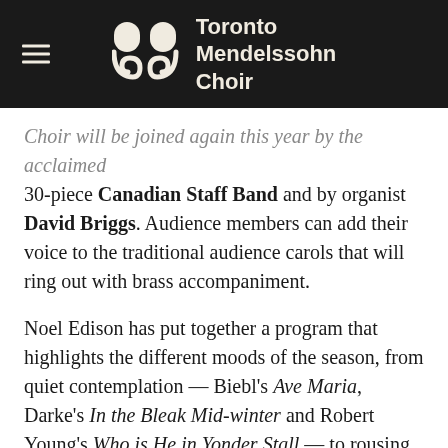[Figure (logo): Toronto Mendelssohn Choir logo with hamburger menu icon on dark background header bar]
Choir will be joined again this year by the acclaimed 30-piece Canadian Staff Band and by organist David Briggs. Audience members can add their voice to the traditional audience carols that will ring out with brass accompaniment.
Noel Edison has put together a program that highlights the different moods of the season, from quiet contemplation — Biebl's Ave Maria, Darke's In the Bleak Mid-winter and Robert Young's Who is He in Yonder Stall — to rousing joy with works like Robert Evans' Ring-a-the-news and Bob Chilcott's The Sussex Carol. The audience is invited to join the Choir and the Canadian Staff Band to sing traditional